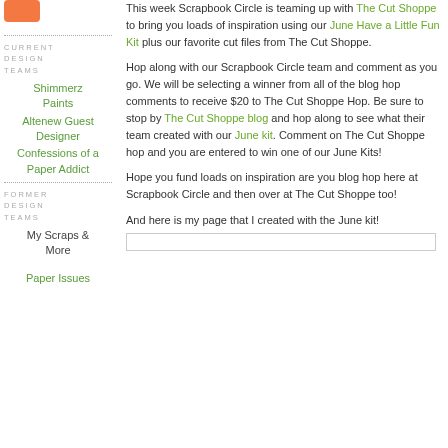[Figure (other): Orange rounded rectangle button]
This week Scrapbook Circle is teaming up with The Cut Shoppe to bring you loads of inspiration using our June Have a Little Fun Kit plus our favorite cut files from The Cut Shoppe.
CURRENT DESIGN TEAMS
Shimmerz Paints
Altenew Guest Designer
Confessions of a Paper Addict
Hop along with our Scrapbook Circle team and comment as you go. We will be selecting a winner from all of the blog hop comments to receive $20 to The Cut Shoppe Hop. Be sure to stop by The Cut Shoppe blog and hop along to see what their team created with our June kit. Comment on The Cut Shoppe hop and you are entered to win one of our June Kits!
FORMER DESIGN TEAMS
My Scraps & More
Hope you fund loads on inspiration are you blog hop here at Scrapbook Circle and then over at The Cut Shoppe too!
Paper Issues
And here is my page that I created with the June kit!
[Figure (other): Image placeholder at bottom of page]